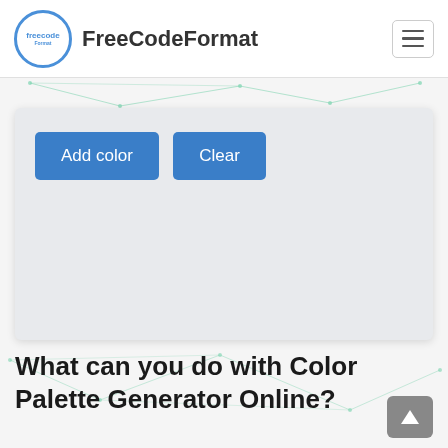FreeCodeFormat
[Figure (screenshot): Color palette tool card with 'Add color' and 'Clear' buttons on a light gray background]
What can you do with Color Palette Generator Online?
The tool helps you to get color palette color schemes. You could get Tetrad Triad Square Complementary Split Complementary Analogous Similar Monochromatic.
Common Color Code